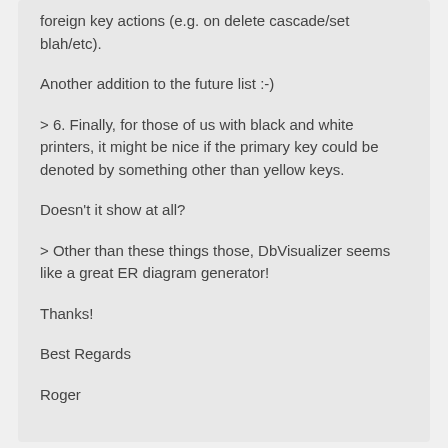foreign key actions (e.g. on delete cascade/set blah/etc).
Another addition to the future list :-)
> 6. Finally, for those of us with black and white printers, it might be nice if the primary key could be denoted by something other than yellow keys.
Doesn't it show at all?
> Other than these things those, DbVisualizer seems like a great ER diagram generator!
Thanks!
Best Regards
Roger
anonymous
said 14 years ago